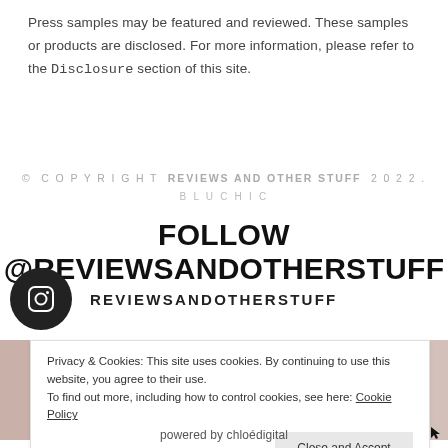Press samples may be featured and reviewed. These samples or products are disclosed. For more information, please refer to the Disclosure section of this site.
© COPYRIGHT REVIEWS AND OTHER STUFF 2022. BLUCHIC
FOLLOW @REVIEWSANDOTHERSTUFF
REVIEWSANDOTHERSTUFF
Privacy & Cookies: This site uses cookies. By continuing to use this website, you agree to their use. To find out more, including how to control cookies, see here: Cookie Policy
Close and Accept
powered by chloédigital